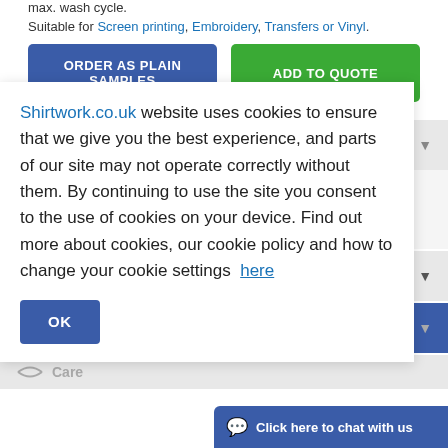max. wash cycle.
Suitable for Screen printing, Embroidery, Transfers or Vinyl.
ORDER AS PLAIN SAMPLES
ADD TO QUOTE
Colours
Shirtwork.co.uk website uses cookies to ensure that we give you the best experience, and parts of our site may not operate correctly without them. By continuing to use the site you consent to the use of cookies on your device. Find out more about cookies, our cookie policy and how to change your cookie settings here
OK
Sizes
Stock Availability
Care
Click here to chat with us